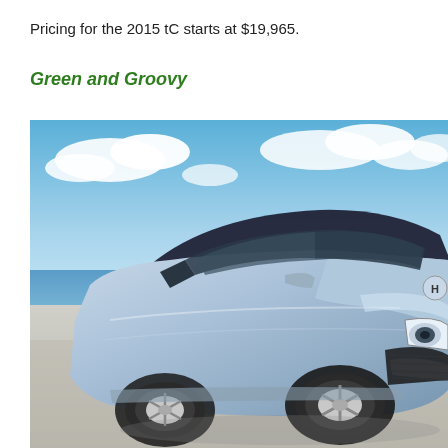Pricing for the 2015 tC starts at $19,965.
Green and Groovy
[Figure (photo): A silver Hyundai sedan parked on a concrete surface near a beach, with a blue sky and white clouds in the background. The car is photographed from a front three-quarter angle.]